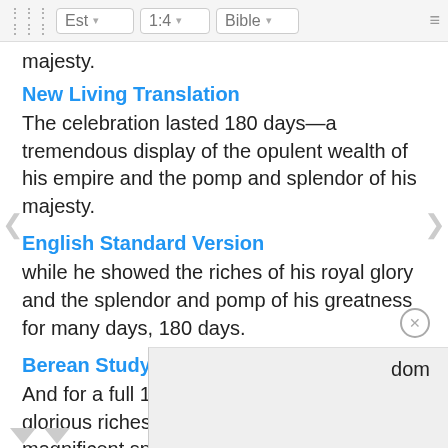Est  1:4  Bible
majesty.
New Living Translation
The celebration lasted 180 days—a tremendous display of the opulent wealth of his empire and the pomp and splendor of his majesty.
English Standard Version
while he showed the riches of his royal glory and the splendor and pomp of his greatness for many days, 180 days.
Berean Study Bible
And for a full 180 days he displayed the glorious riches of his kingdom and the magnificent splendor of his greatness.
King
Wher dom